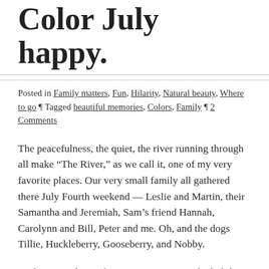Color July happy.
Posted in Family matters, Fun, Hilarity, Natural beauty, Where to go ¶ Tagged beautiful memories, Colors, Family ¶ 2 Comments
The peacefulness, the quiet, the river running through all make “The River,” as we call it, one of my very favorite places. Our very small family all gathered there July Fourth weekend — Leslie and Martin, their Samantha and Jeremiah, Sam’s friend Hannah, Carolynn and Bill, Peter and me. Oh, and the dogs Tillie, Huckleberry, Gooseberry, and Nobby.
Such a special time for so many reasons. The holiday weekend was extended because Carolynn and Bill stayed through Friday, and that gave us extra time to do what we do best — eat, shop, talk, play cards, wade,